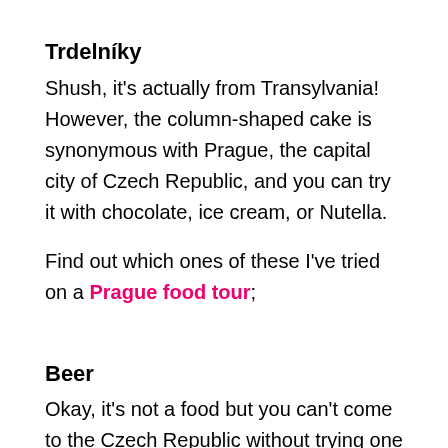Trdelníky
Shush, it's actually from Transylvania! However, the column-shaped cake is synonymous with Prague, the capital city of Czech Republic, and you can try it with chocolate, ice cream, or Nutella.
Find out which ones of these I've tried on a Prague food tour;
Beer
Okay, it's not a food but you can't come to the Czech Republic without trying one of the country's